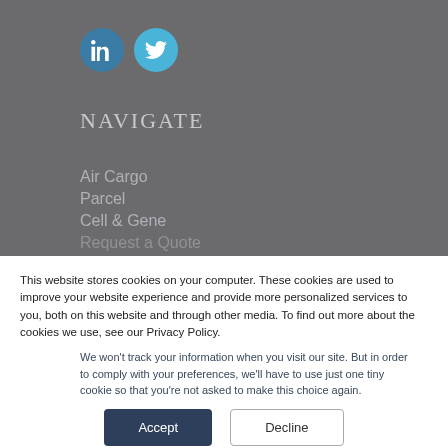[Figure (logo): LinkedIn and Twitter social media icon circles — LinkedIn in steel blue, Twitter in light blue]
NAVIGATE
Air Cargo
Parcel
Cell & Gene
Request a Quote
This website stores cookies on your computer. These cookies are used to improve your website experience and provide more personalized services to you, both on this website and through other media. To find out more about the cookies we use, see our Privacy Policy.
We won't track your information when you visit our site. But in order to comply with your preferences, we'll have to use just one tiny cookie so that you're not asked to make this choice again.
Accept | Decline